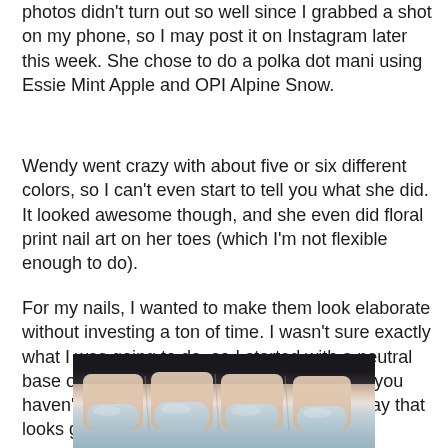photos didn't turn out so well since I grabbed a shot on my phone, so I may post it on Instagram later this week. She chose to do a polka dot mani using Essie Mint Apple and OPI Alpine Snow.
Wendy went crazy with about five or six different colors, so I can't even start to tell you what she did. It looked awesome though, and she even did floral print nail art on her toes (which I'm not flexible enough to do).
For my nails, I wanted to make them look elaborate without investing a ton of time. I wasn't sure exactly what I was going to do, so I started with a neutral base of OPI Skulls & Glossbones. In case you haven't tried the polish, it's a smooth light gray that looks great on everyone I've seen it on.
[Figure (photo): Close-up photo of fingernails painted with a light gray/blue-gray nail polish (OPI Skulls & Glossbones), showing four fingers against a dark background.]